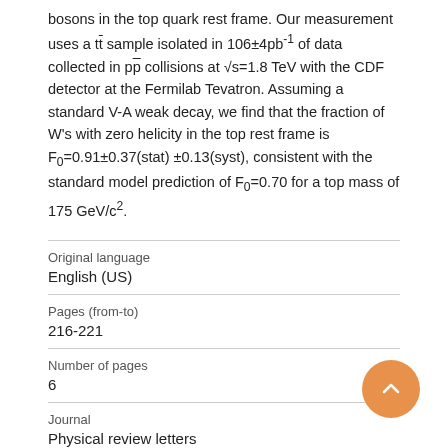bosons in the top quark rest frame. Our measurement uses a tt̄ sample isolated in 106±4pb⁻¹ of data collected in pp̄ collisions at √s=1.8TeV with the CDF detector at the Fermilab Tevatron. Assuming a standard V-A weak decay, we find that the fraction of W's with zero helicity in the top rest frame is F₀=0.91±0.37(stat) ±0.13(syst), consistent with the standard model prediction of F₀=0.70 for a top mass of 175GeV/c².
| Field | Value |
| --- | --- |
| Original language | English (US) |
| Pages (from-to) | 216-221 |
| Number of pages | 6 |
| Journal | Physical review letters |
| Volume | 84 |